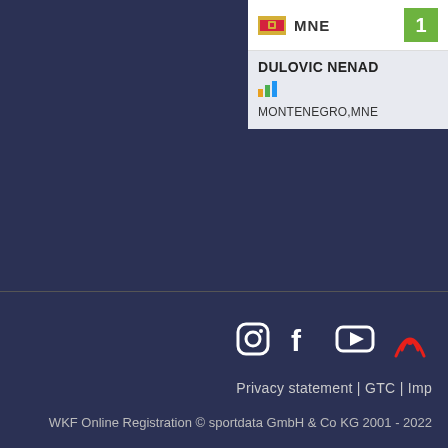[Figure (infographic): Athlete card showing Montenegro flag, MNE label, rank 1 badge, athlete name DULOVIC NENAD, bar chart icon, and MONTENEGRO,MNE text]
[Figure (infographic): Social media icons: Instagram, Facebook, YouTube, and a red wifi/broadcast icon]
Privacy statement | GTC | Imp
WKF Online Registration © sportdata GmbH & Co KG 2001 - 2022